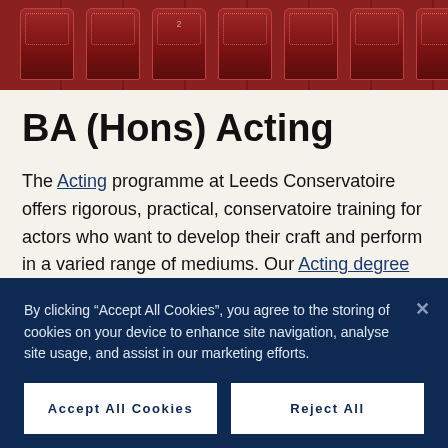[Figure (photo): Red theatre/auditorium seats viewed from front, with numbered seat markers visible]
BA (Hons) Acting
The Acting programme at Leeds Conservatoire offers rigorous, practical, conservatoire training for actors who want to develop their craft and perform in a varied range of mediums. Our Acting degree is designed to prepare you for the performance industry now and in
By clicking “Accept All Cookies”, you agree to the storing of cookies on your device to enhance site navigation, analyse site usage, and assist in our marketing efforts.
Accept All Cookies
Reject All
Cookies Settings